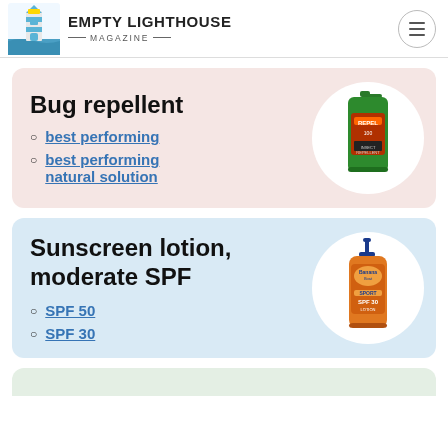EMPTY LIGHTHOUSE MAGAZINE
Bug repellent
best performing
best performing natural solution
[Figure (photo): Green spray bottle of Repel bug repellent]
Sunscreen lotion, moderate SPF
SPF 50
SPF 30
[Figure (photo): Orange pump bottle of sunscreen lotion SPF 30/50 Sport]